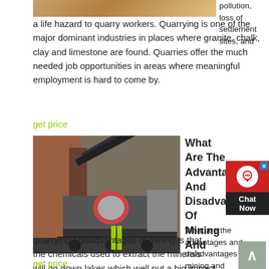[Figure (photo): Top portion of quarrying/mining machinery photo, cropped at top of page]
pollution, loss of settlement sites, and a life hazard to quarry workers. Quarrying is one of the major dominant industries in places where granite, chalk, clay and limestone are found. Quarries offer the much needed job opportunities in areas where meaningful employment is hard to come by.
get price
[Figure (photo): Large mobile mining/crushing machine on wheels in an industrial warehouse setting]
What Are The Advantages And Disadvantages Of Mining And
What are the advantages and disadvantages of mining and quarrying? disadvantages of mining is that the chemicals used to extract the minerals will go down lakes which well put a big impact on the
get price